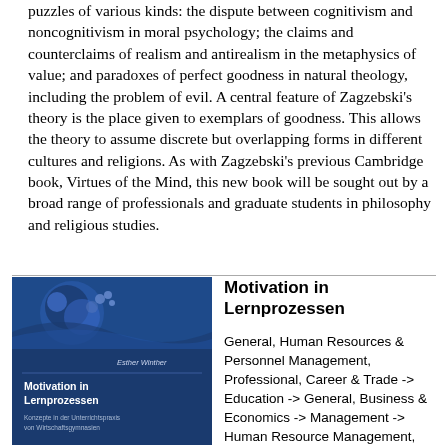puzzles of various kinds: the dispute between cognitivism and noncognitivism in moral psychology; the claims and counterclaims of realism and antirealism in the metaphysics of value; and paradoxes of perfect goodness in natural theology, including the problem of evil. A central feature of Zagzebski's theory is the place given to exemplars of goodness. This allows the theory to assume discrete but overlapping forms in different cultures and religions. As with Zagzebski's previous Cambridge book, Virtues of the Mind, this new book will be sought out by a broad range of professionals and graduate students in philosophy and religious studies.
[Figure (illustration): Book cover of 'Motivation in Lernprozessen' by Esther Winther showing a dark blue cover with a circular graphic image and text.]
Motivation in Lernprozessen
General, Human Resources & Personnel Management, Professional, Career & Trade -> Education -> General, Business & Economics -> Management -> Human Resource Management, SCO00000, SC517000, 3353, 3723, SUCO41171
Esther Winther